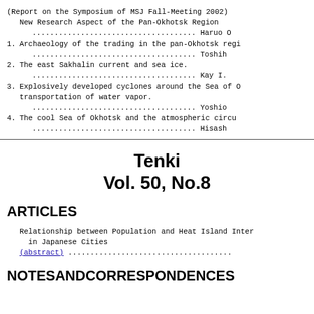(Report on the Symposium of MSJ Fall-Meeting 2002)
  New Research Aspect of the Pan-Okhotsk Region
    ..................................... Haruo O
1. Archaeology of the trading in the pan-Okhotsk regi
        ..................................... Toshih
2. The east Sakhalin current and sea ice.
        ..................................... Kay I.
3. Explosively developed cyclones around the Sea of O
   transportation of water vapor.
        ..................................... Yoshio
4. The cool Sea of Okhotsk and the atmospheric circu
        ..................................... Hisash
Tenki
Vol. 50, No.8
ARTICLES
Relationship between Population and Heat Island Inten
  in Japanese Cities
(abstract) .....................................
NOTESANDCORRESPONDENCES